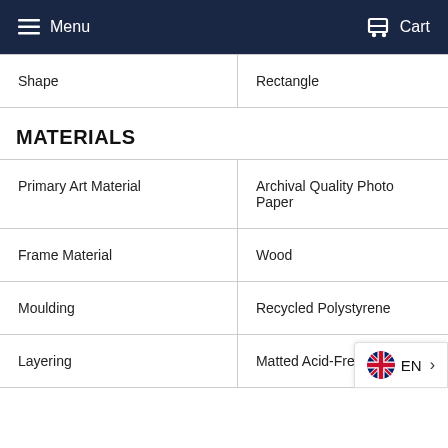Menu   Cart
| Shape | Rectangle |
MATERIALS
| Primary Art Material | Archival Quality Photo Paper |
| Frame Material | Wood |
| Moulding | Recycled Polystyrene |
| Layering | Matted Acid-Free Matboard |